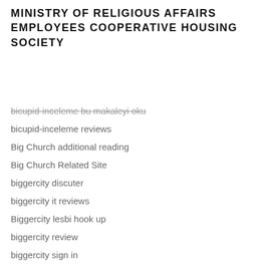MINISTRY OF RELIGIOUS AFFAIRS EMPLOYEES COOPERATIVE HOUSING SOCIETY
bicupid-inceleme bu makaleyi oku
bicupid-inceleme reviews
Big Church additional reading
Big Church Related Site
biggercity discuter
biggercity it reviews
Biggercity lesbi hook up
biggercity review
biggercity sign in
biggercity visitors